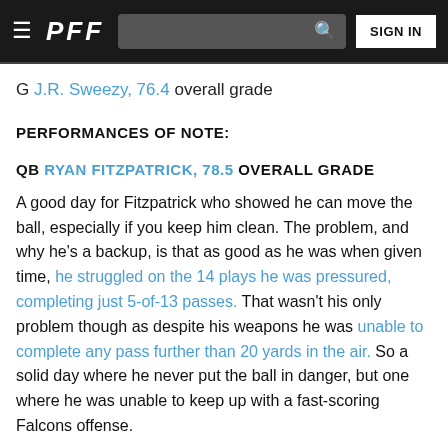PFF — navigation bar with hamburger menu, search bar, and SIGN IN button
G J.R. Sweezy, 76.4 overall grade
PERFORMANCES OF NOTE:
QB RYAN FITZPATRICK, 78.5 OVERALL GRADE
A good day for Fitzpatrick who showed he can move the ball, especially if you keep him clean. The problem, and why he's a backup, is that as good as he was when given time, he struggled on the 14 plays he was pressured, completing just 5-of-13 passes. That wasn't his only problem though as despite his weapons he was unable to complete any pass further than 20 yards in the air. So a solid day where he never put the ball in danger, but one where he was unable to keep up with a fast-scoring Falcons offense.